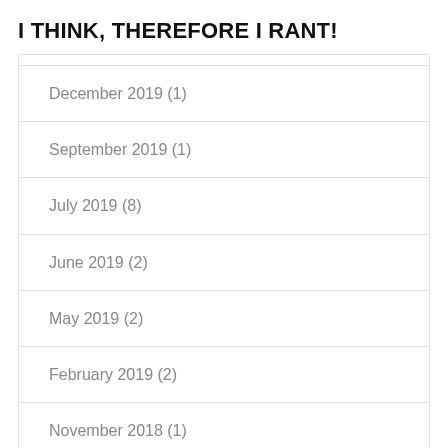I THINK, THEREFORE I RANT!
December 2019 (1)
September 2019 (1)
July 2019 (8)
June 2019 (2)
May 2019 (2)
February 2019 (2)
November 2018 (1)
April 2018 (1)
December 2017 (1)